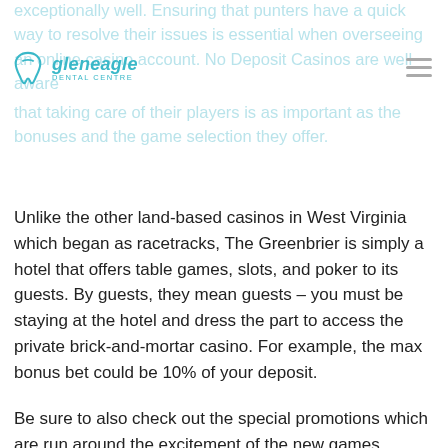exceptionally well. Ensuring that punters have a quick way to resolve their issues is essential when overseeing an online casino account. No Deposit Casinos are well aware that taking care of their players is as important as the bonuses and the game selection they offer.
Unlike the other land-based casinos in West Virginia which began as racetracks, The Greenbrier is simply a hotel that offers table games, slots, and poker to its guests. By guests, they mean guests – you must be staying at the hotel and dress the part to access the private brick-and-mortar casino. For example, the max bonus bet could be 10% of your deposit.
Be sure to also check out the special promotions which are run around the excitement of the new games release. Your account might be bonused with free cash for you to try out one of the new online casino games. Or maybe